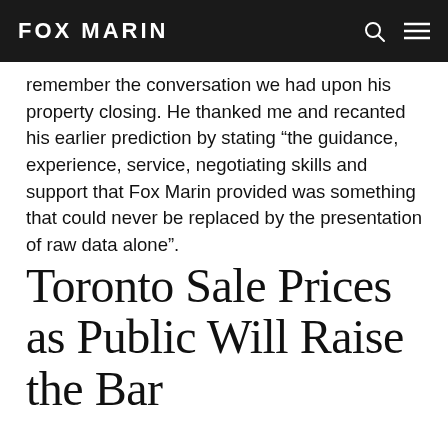FOX MARIN
remember the conversation we had upon his property closing. He thanked me and recanted his earlier prediction by stating “the guidance, experience, service, negotiating skills and support that Fox Marin provided was something that could never be replaced by the presentation of raw data alone”.
Toronto Sale Prices as Public Will Raise the Bar